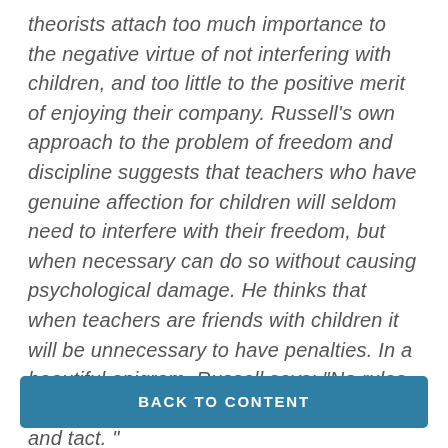theorists attach too much importance to the negative virtue of not interfering with children, and too little to the positive merit of enjoying their company. Russell's own approach to the problem of freedom and discipline suggests that teachers who have genuine affection for children will seldom need to interfere with their freedom, but when necessary can do so without causing psychological damage. He thinks that when teachers are friends with children it will be unnecessary to have penalties. In a beautiful epigram, Russell says: "No rules, however wise, are substitutes for affection and tact. "
BACK TO CONTENT